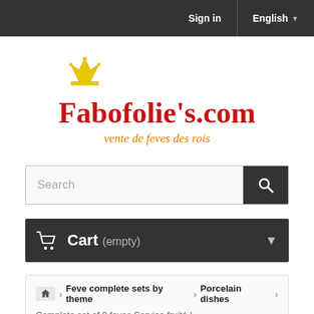Sign in | English
[Figure (logo): Fabofolie's.com logo with crown icon and subtitle 'vente de feves des rois']
Search
Cart (empty)
Feve complete sets by theme > Porcelain dishes
Complete set of 8 feves Service fruité I